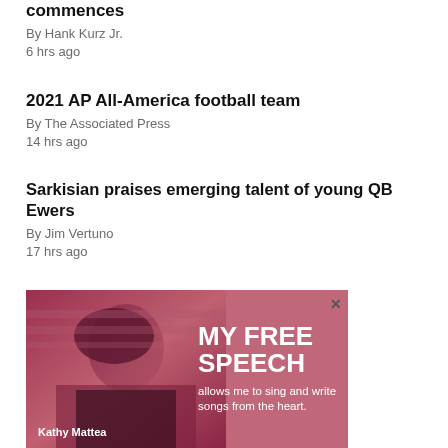commences
By Hank Kurz Jr.
6 hrs ago
2021 AP All-America football team
By The Associated Press
14 hrs ago
Sarkisian praises emerging talent of young QB Ewers
By Jim Vertuno
17 hrs ago
[Figure (photo): Advertisement featuring Kathy Mattea with text 'MY FREE SPEECH allows me to sing and write songs from the heart.' Pink/red toned photo of woman.]